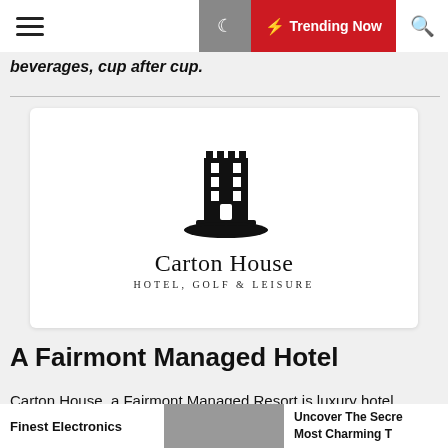≡ 🌙 ⚡ Trending Now 🔍
beverages, cup after cup.
[Figure (logo): Carton House Hotel, Golf & Leisure logo with tower illustration. Text reads: Carton House HOTEL, GOLF & LEISURE]
A Fairmont Managed Hotel
Carton House, a Fairmont Managed Resort is luxury hotel
Finest Electronics | [grey block] | Uncover The Secre Most Charming T